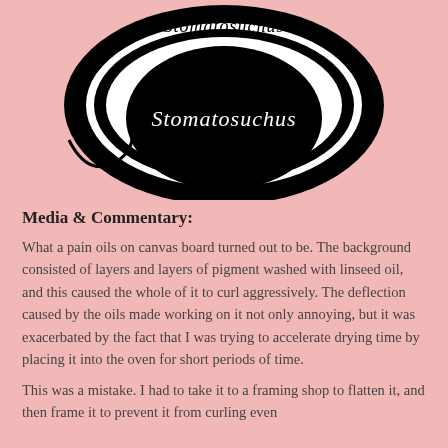[Figure (logo): Circular logo with concentric black and white rings, large outer black ellipse, white ring, inner black circle with italic white text reading 'Stomatosuchus', and partial text 'Stomatosuchus' visible at top in a curved white band.]
Media & Commentary:
What a pain oils on canvas board turned out to be. The background consisted of layers and layers of pigment washed with linseed oil, and this caused the whole of it to curl aggressively. The deflection caused by the oils made working on it not only annoying, but it was exacerbated by the fact that I was trying to accelerate drying time by placing it into the oven for short periods of time.
This was a mistake. I had to take it to a framing shop to flatten it, and then frame it to prevent it from curling even